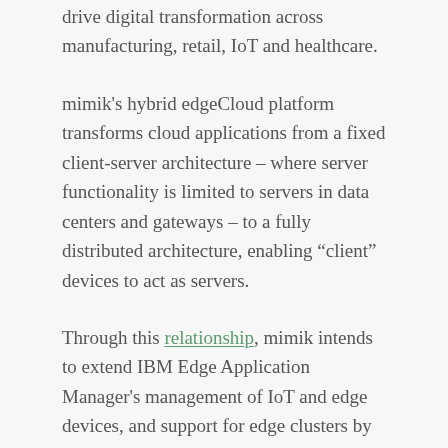drive digital transformation across manufacturing, retail, IoT and healthcare.
mimik's hybrid edgeCloud platform transforms cloud applications from a fixed client-server architecture – where server functionality is limited to servers in data centers and gateways – to a fully distributed architecture, enabling “client” devices to act as servers.
Through this relationship, mimik intends to extend IBM Edge Application Manager's management of IoT and edge devices, and support for edge clusters by enabling the deployment of containerized workloads to mobile devices running on iOS, Android, QNX and Windows.
“We are excited to work with IBM and to leverage its